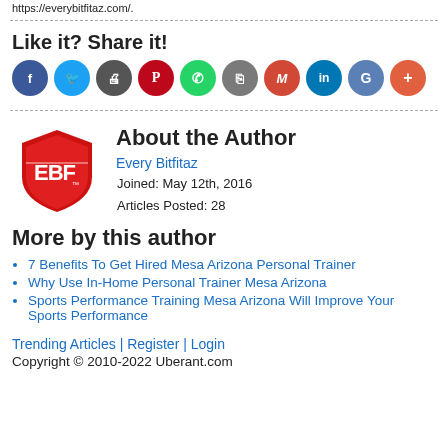https://everybitfitaz.com/.
Like it? Share it!
[Figure (illustration): Social sharing icon buttons: Facebook, Twitter, Print, Pinterest, WhatsApp, Copy, Gmail, LinkedIn, Google, More]
About the Author
[Figure (logo): EBF (Every Bitfitaz) red shield logo]
Every Bitfitaz
Joined: May 12th, 2016
Articles Posted: 28
More by this author
7 Benefits To Get Hired Mesa Arizona Personal Trainer
Why Use In-Home Personal Trainer Mesa Arizona
Sports Performance Training Mesa Arizona Will Improve Your Sports Performance
Trending Articles | Register | Login
Copyright © 2010-2022 Uberant.com